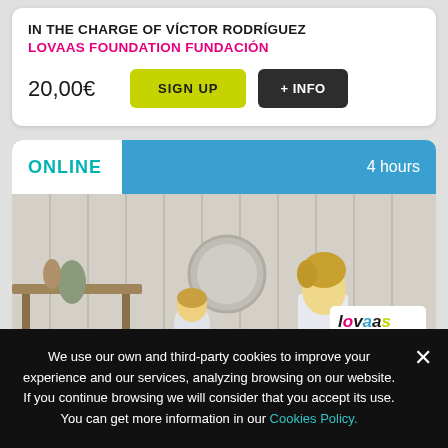IN THE CHARGE OF VÍCTOR RODRÍGUEZ
LOVAAS FOUNDATION FUNDACIÓN
20,00€
SIGN UP
+ INFO
ONLINE
4 hours
[Figure (photo): Photo of two children viewed from behind in a room with white wooden walls, a wooden table, and decorative items. Lovaas Foundation logo visible in bottom right corner.]
We use our own and third-party cookies to improve your experience and our services, analyzing browsing on our website. If you continue browsing we will consider that you accept its use. You can get more information in our Cookies Policy.